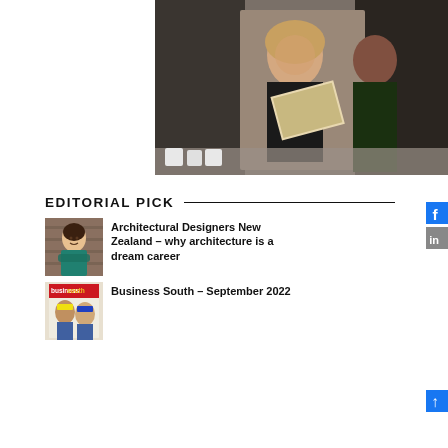[Figure (photo): Two people reading a magazine/newspaper at an event, woman with blonde hair in black floral top and a man in green and black polo shirt]
EDITORIAL PICK
[Figure (photo): Woman in teal/green jacket smiling with arms crossed, standing against a brick wall background]
Architectural Designers New Zealand – why architecture is a dream career
[Figure (photo): Business South magazine cover showing two people in hard hats]
Business South – September 2022